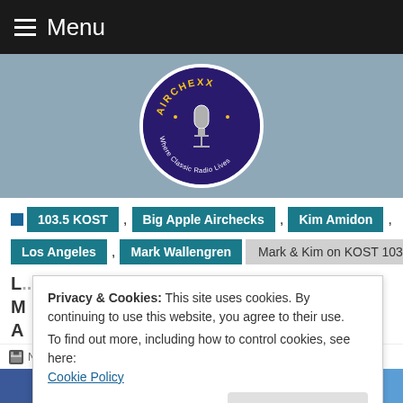≡ Menu
[Figure (logo): Airchexx circular logo - Where Classic Radio Lives, microphone graphic, dark blue background with yellow text]
103.5 KOST , Big Apple Airchecks , Kim Amidon ,
Los Angeles , Mark Wallengren | Mark & Kim on KOST 103
Privacy & Cookies: This site uses cookies. By continuing to use this website, you agree to their use.
To find out more, including how to control cookies, see here:
Cookie Policy
November 19, 2013  Steve West  19 Comments
f  t  P  in  ✉